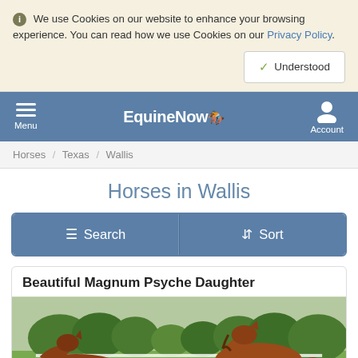We use Cookies on our website to enhance your browsing experience. You can read how we use Cookies on our Privacy Policy.
Understood
EquineNow — Menu / Account navigation
Horses / Texas / Wallis
Horses in Wallis
Search   Sort
Beautiful Magnum Psyche Daughter
[Figure (photo): Photo of a chestnut horse running in a green pasture with trees in background]